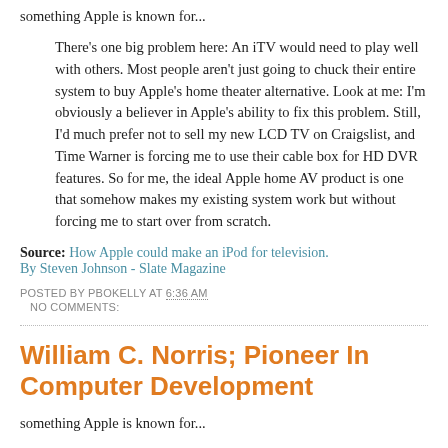something Apple is known for...
There's one big problem here: An iTV would need to play well with others. Most people aren't just going to chuck their entire system to buy Apple's home theater alternative. Look at me: I'm obviously a believer in Apple's ability to fix this problem. Still, I'd much prefer not to sell my new LCD TV on Craigslist, and Time Warner is forcing me to use their cable box for HD DVR features. So for me, the ideal Apple home AV product is one that somehow makes my existing system work but without forcing me to start over from scratch.
Source: How Apple could make an iPod for television. By Steven Johnson - Slate Magazine
POSTED BY PBOKELLY AT 6:36 AM
NO COMMENTS:
William C. Norris; Pioneer In Computer Development
something Apple is known for...